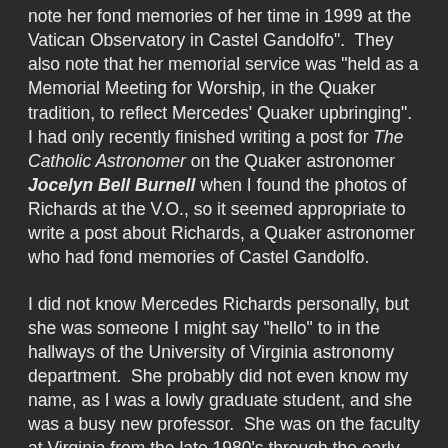note her fond memories of her time in 1999 at the Vatican Observatory in Castel Gandolfo". They also note that her memorial service was "held as a Memorial Meeting for Worship, in the Quaker tradition, to reflect Mercedes' Quaker upbringing". I had only recently finished writing a post for The Catholic Astronomer on the Quaker astronomer Jocelyn Bell Burnell when I found the photos of Richards at the V.O., so it seemed appropriate to write a post about Richards, a Quaker astronomer who had fond memories of Castel Gandolfo.
I did not know Mercedes Richards personally, but she was someone I might say "hello" to in the hallways of the University of Virginia astronomy department. She probably did not even know my name, as I was a lowly graduate student, and she was a busy new professor. She was on the faculty at Virginia from the late 1980's through the early 2000's. She then joined